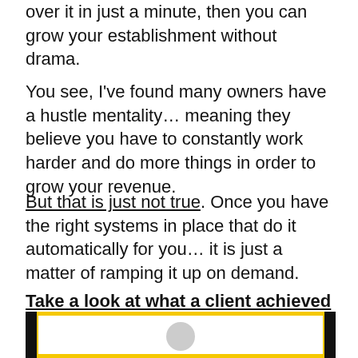over it in just a minute, then you can grow your establishment without drama.
You see, I've found many owners have a hustle mentality… meaning they believe you have to constantly work harder and do more things in order to grow your revenue.
But that is just not true. Once you have the right systems in place that do it automatically for you… it is just a matter of ramping it up on demand.
Take a look at what a client achieved in just 6 months starting at $0.00.
[Figure (screenshot): Partial screenshot of a chart or report showing a yellow-bordered image with a circular avatar or graph element, cropped at the bottom of the page.]